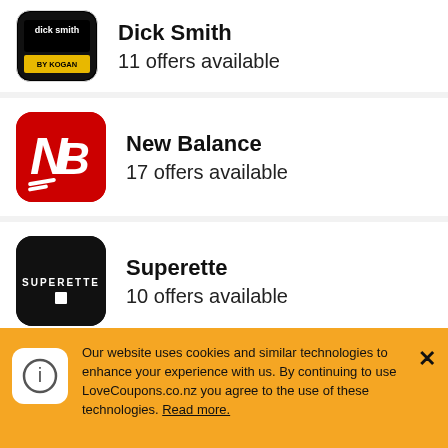Dick Smith
11 offers available
New Balance
17 offers available
Superette
10 offers available
Glassons
23 offers available
Our website uses cookies and similar technologies to enhance your experience with us. By continuing to use LoveCoupons.co.nz you agree to the use of these technologies. Read more.